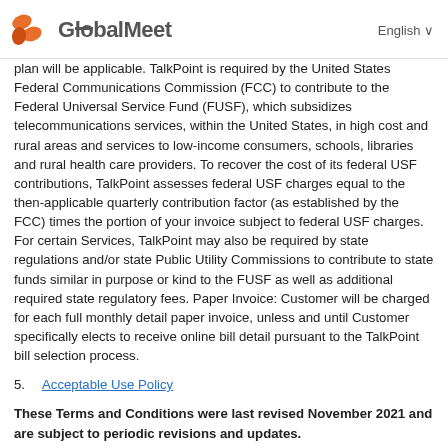GlobalMeet  English
plan will be applicable. TalkPoint is required by the United States Federal Communications Commission (FCC) to contribute to the Federal Universal Service Fund (FUSF), which subsidizes telecommunications services, within the United States, in high cost and rural areas and services to low-income consumers, schools, libraries and rural health care providers. To recover the cost of its federal USF contributions, TalkPoint assesses federal USF charges equal to the then-applicable quarterly contribution factor (as established by the FCC) times the portion of your invoice subject to federal USF charges. For certain Services, TalkPoint may also be required by state regulations and/or state Public Utility Commissions to contribute to state funds similar in purpose or kind to the FUSF as well as additional required state regulatory fees. Paper Invoice: Customer will be charged for each full monthly detail paper invoice, unless and until Customer specifically elects to receive online bill detail pursuant to the TalkPoint bill selection process.
5. Acceptable Use Policy
These Terms and Conditions were last revised November 2021 and are subject to periodic revisions and updates.